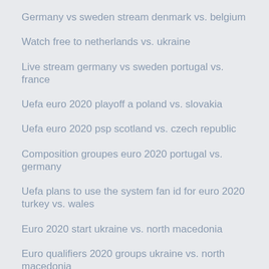Germany vs sweden stream denmark vs. belgium
Watch free to netherlands vs. ukraine
Live stream germany vs sweden portugal vs. france
Uefa euro 2020 playoff a poland vs. slovakia
Uefa euro 2020 psp scotland vs. czech republic
Composition groupes euro 2020 portugal vs. germany
Uefa plans to use the system fan id for euro 2020 turkey vs. wales
Euro 2020 start ukraine vs. north macedonia
Euro qualifiers 2020 groups ukraine vs. north macedonia
Euro 2020 ticket june 16 match 12 italy vs. wales